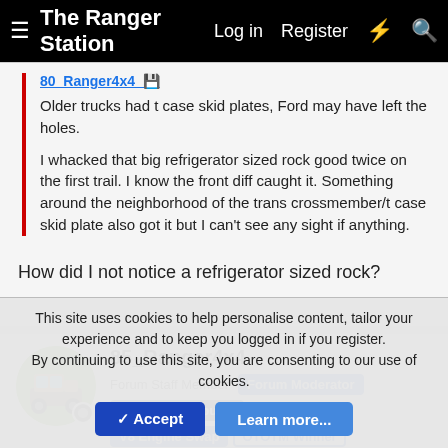The Ranger Station | Log in | Register
80_Ranger4x4 [quoted post]: Older trucks had t case skid plates, Ford may have left the holes.

I whacked that big refrigerator sized rock good twice on the first trail. I know the front diff caught it. Something around the neighborhood of the trans crossmember/t case skid plate also got it but I can't see any sight if anything.
How did I not notice a refrigerator sized rock?
85_Ranger4x4 | Forum Staff Member | Forum Moderator | Article Contributor | V8 Engine Swap | OTOTM Winner | TRS Banner 2010-2011 | TRS 20th Anniversary | TRS Event Participant
Sep 20, 2021 | #820
This site uses cookies to help personalise content, tailor your experience and to keep you logged in if you register.
By continuing to use this site, you are consenting to our use of cookies.